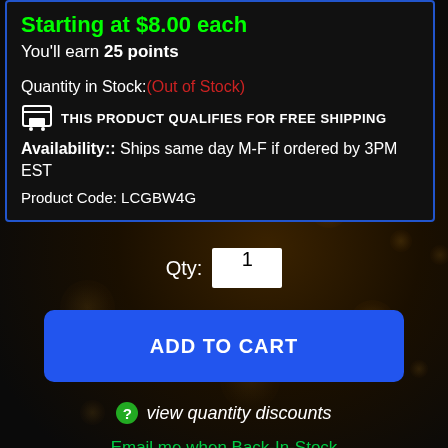Starting at $8.00 each
You'll earn 25 points
Quantity in Stock:(Out of Stock)
THIS PRODUCT QUALIFIES FOR FREE SHIPPING
Availability:: Ships same day M-F if ordered by 3PM EST
Product Code: LCGBW4G
Qty: 1
ADD TO CART
view quantity discounts
Email me when Back-In-Stock